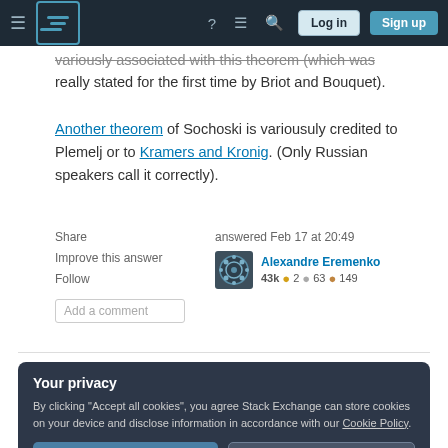Stack Exchange navigation bar with Log in and Sign up buttons
variously associated with this theorem (which was really stated for the first time by Briot and Bouquet).
Another theorem of Sochoski is variousuly credited to Plemelj or to Kramers and Kronig. (Only Russian speakers call it correctly).
Share | Improve this answer | Follow | Add a comment
answered Feb 17 at 20:49
Alexandre Eremenko
43k ● 2 ● 63 ● 149
Your privacy
By clicking "Accept all cookies", you agree Stack Exchange can store cookies on your device and disclose information in accordance with our Cookie Policy.
Accept all cookies | Customize settings